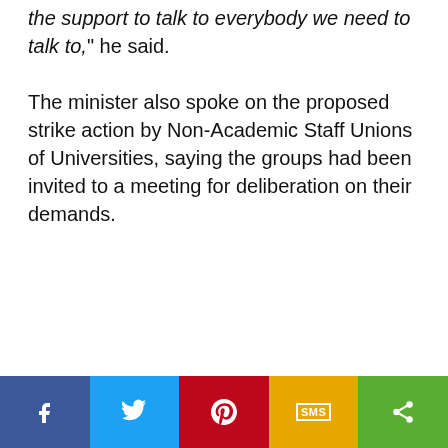the support to talk to everybody we need to talk to,” he said.
The minister also spoke on the proposed strike action by Non-Academic Staff Unions of Universities, saying the groups had been invited to a meeting for deliberation on their demands.
[Figure (other): Social share bar with five buttons: Facebook (blue), Twitter (light blue), Pinterest (red), SMS (yellow/gold), and Share/More (green)]